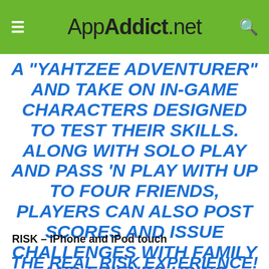AppAddict.net
A "YAHTZEE ADVENTURER" AND TAKE ON IN-GAME CHARACTERS DESIGNED TO TEST THEIR SKILLS. ALONG WITH SOLO PLAY AND PASS 'N PLAY WITH UP TO FOUR FRIENDS, PLAYERS CAN ALSO POST SCORES AND ISSUE CHALLENGES WITH FAMILY AND FRIENDS USING FACEBOOK CONNECT. STREET DATE: SUMMER 2010
RISK – iPhone and iPod touch
THE REAL RISK EXPERIENCE! SOON ON IPHONE AND IPOD TOUCH, PURSUE WORLD DOMINATION WITH THE ORIGINAL GAME OF STRATEGIC